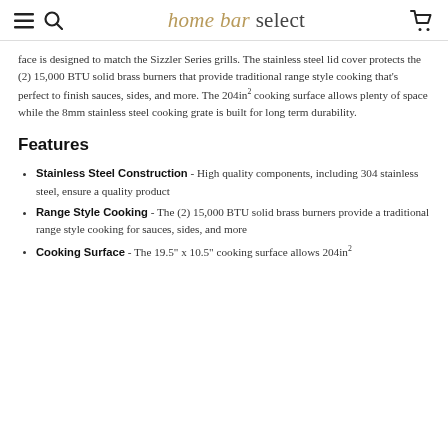home bar select
face is designed to match the Sizzler Series grills. The stainless steel lid cover protects the (2) 15,000 BTU solid brass burners that provide traditional range style cooking that's perfect to finish sauces, sides, and more. The 204in² cooking surface allows plenty of space while the 8mm stainless steel cooking grate is built for long term durability.
Features
Stainless Steel Construction - High quality components, including 304 stainless steel, ensure a quality product
Range Style Cooking - The (2) 15,000 BTU solid brass burners provide a traditional range style cooking for sauces, sides, and more
Cooking Surface - The 19.5" x 10.5" cooking surface allows 204in²